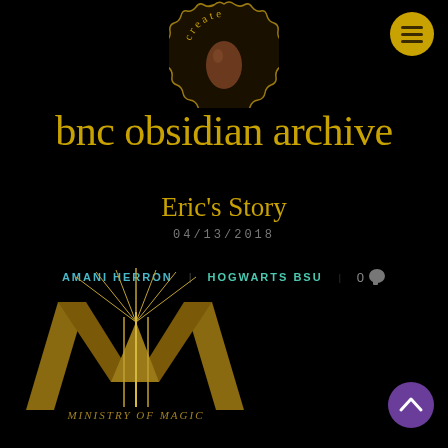[Figure (logo): Circular badge logo with the word 'create' in gold letters around the top edge, with a brown teardrop/bulb shape in the center, on a dark background]
[Figure (logo): Hamburger menu icon — three horizontal lines on a circular gold/yellow background, top right corner]
bnc obsidian archive
Eric's Story
04/13/2018
AMANI HERRON   HOGWARTS BSU   0 💬
[Figure (logo): Ministry of Magic logo — large golden letter M with decorative rays/lines and stylized elements, with 'MINISTRY OF MAGIC' text below in gold letters]
[Figure (other): Purple circular scroll-to-top button with a white upward chevron arrow, bottom right corner]